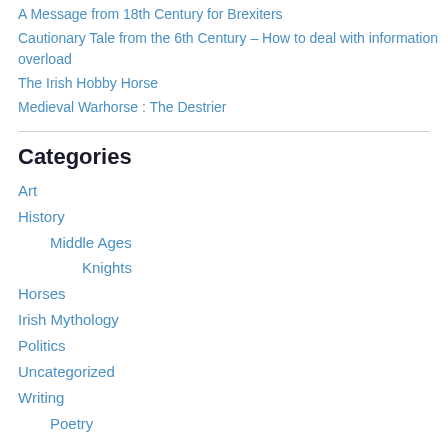A Message from 18th Century for Brexiters
Cautionary Tale from the 6th Century – How to deal with information overload
The Irish Hobby Horse
Medieval Warhorse : The Destrier
Categories
Art
History
Middle Ages
Knights
Horses
Irish Mythology
Politics
Uncategorized
Writing
Poetry